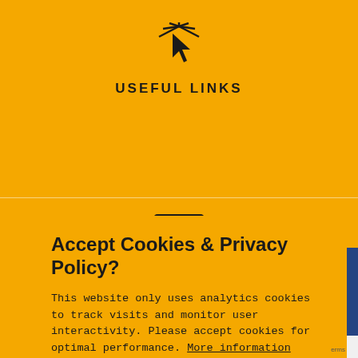[Figure (illustration): Cursor/pointer icon with a starburst/click effect, dark color on yellow background]
USEFUL LINKS
[Figure (illustration): Computer monitor icon with a bar chart on screen, dark color on yellow background]
Accept Cookies & Privacy Policy?
This website only uses analytics cookies to track visits and monitor user interactivity. Please accept cookies for optimal performance. More information
ACCEPT
CUSTOMISE